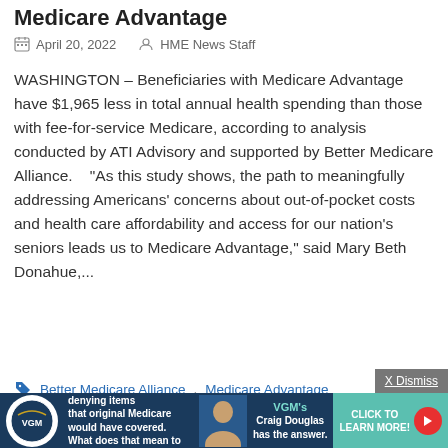Medicare Advantage
April 20, 2022   HME News Staff
WASHINGTON – Beneficiaries with Medicare Advantage have $1,965 less in total annual health spending than those with fee-for-service Medicare, according to analysis conducted by ATI Advisory and supported by Better Medicare Alliance.    "As this study shows, the path to meaningfully addressing Americans' concerns about out-of-pocket costs and health care affordability and access for our nation's seniors leads us to Medicare Advantage," said Mary Beth Donahue,...
Better Medicare Alliance, Medicare Advantage
Medicare Advantage plans denying items that original Medicare would have covered. What does that mean to DMEPOS suppliers? VGM's Craig Douglas has the answer. CLICK TO LEARN MORE!